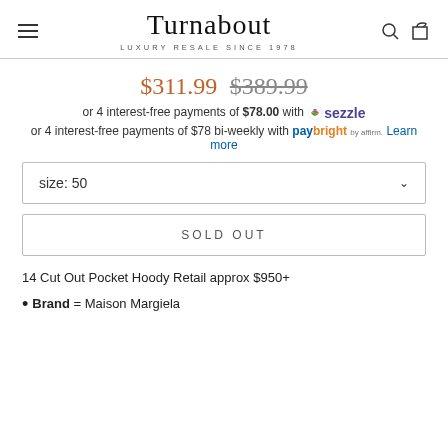Turnabout — LUXURY RESALE SINCE 1978
$311.99  $389.99
or 4 interest-free payments of $78.00 with Sezzle
or 4 interest-free payments of $78 bi-weekly with PayBright by Affirm. Learn more
size: 50
SOLD OUT
14 Cut Out Pocket Hoody Retail approx $950+
Brand = Maison Margiela